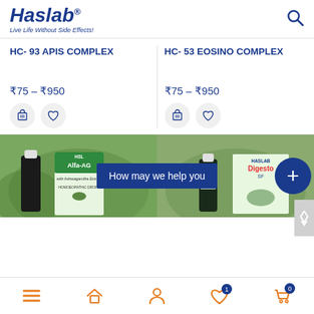[Figure (logo): Haslab logo with tagline 'Live Life Without Side Effects!']
HC- 93 APIS COMPLEX
HC- 53 EOSINO COMPLEX
₹75 – ₹950
₹75 – ₹950
[Figure (screenshot): Banner showing Alfa-AG and Haslab Digesto SF products with 'How may we help you' overlay and blue plus button]
[Figure (infographic): Bottom navigation bar with menu, home, account, heart (badge 1), cart (badge 0) icons in orange]